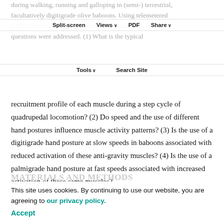during walking, running and galloping in (semi-) terrestrial, facultatively digitigrade olive baboons. Using telemetered EMG from the wrist and finger flexor muscles, four questions were addressed. (1) What is the typical
Split-screen   Views   PDF   Share
Tools   Search Site
recruitment profile of each muscle during a step cycle of quadrupedal locomotion? (2) Do speed and the use of different hand postures influence muscle activity patterns? (3) Is the use of a digitigrade hand posture at slow speeds in baboons associated with reduced activation of these anti-gravity muscles? (4) Is the use of a palmigrade hand posture at fast speeds associated with increased activation of these same muscles?
MATERIALS AND METHODS
This site uses cookies. By continuing to use our website, you are agreeing to our privacy policy. Accept
Two adult olive baboons [Papio anubis (Lessen 1827)] were the animal subjects for this study. The male subject